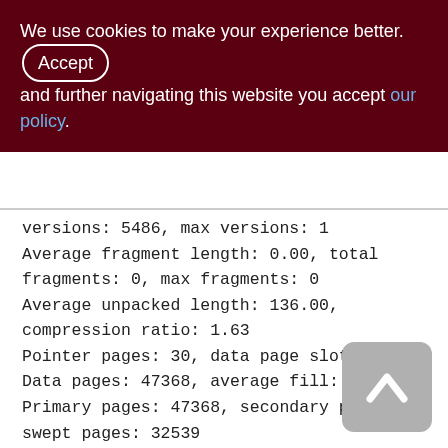We use cookies to make your experience better. By accepting and further navigating this website you accept our policy.
versions: 5486, max versions: 1
Average fragment length: 0.00, total fragments: 0, max fragments: 0
Average unpacked length: 136.00, compression ratio: 1.63
Pointer pages: 30, data page slots: 47368
Data pages: 47368, average fill: 80%
Primary pages: 47368, secondary pages: 0, swept pages: 32539
Empty pages: 32, full pages: 46449
Fill distribution:
0 - 19% = 52
20 - 39% = 78